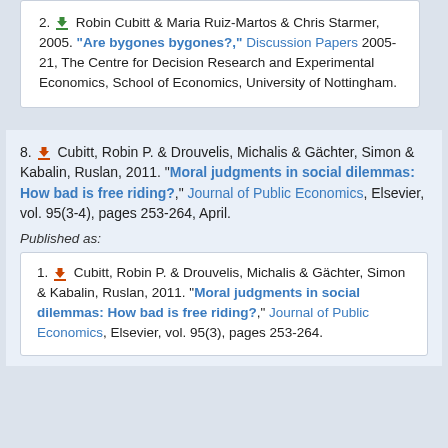2. Robin Cubitt & Maria Ruiz-Martos & Chris Starmer, 2005. "Are bygones bygones?," Discussion Papers 2005-21, The Centre for Decision Research and Experimental Economics, School of Economics, University of Nottingham.
8. Cubitt, Robin P. & Drouvelis, Michalis & Gächter, Simon & Kabalin, Ruslan, 2011. "Moral judgments in social dilemmas: How bad is free riding?," Journal of Public Economics, Elsevier, vol. 95(3-4), pages 253-264, April.
Published as:
1. Cubitt, Robin P. & Drouvelis, Michalis & Gächter, Simon & Kabalin, Ruslan, 2011. "Moral judgments in social dilemmas: How bad is free riding?," Journal of Public Economics, Elsevier, vol. 95(3), pages 253-264.